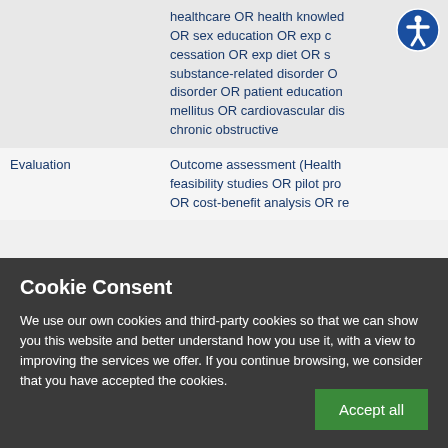|  | healthcare OR health knowledge OR sex education OR exp cessation OR exp diet OR substance-related disorder OR disorder OR patient education mellitus OR cardiovascular chronic obstructive |
| Evaluation | Outcome assessment (Health feasibility studies OR pilot OR cost-benefit analysis OR rep |
Cookie Consent
We use our own cookies and third-party cookies so that we can show you this website and better understand how you use it, with a view to improving the services we offer. If you continue browsing, we consider that you have accepted the cookies.